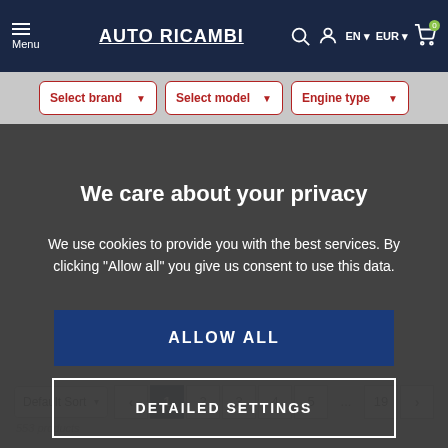[Figure (screenshot): Auto Ricambi website navigation bar with hamburger menu icon, brand name 'AUTO RICAMBI', search icon, user icon, EN language selector, EUR currency selector, and shopping cart icon with badge '0']
[Figure (screenshot): Vehicle search dropdown bar with three dropdowns: 'Select brand', 'Select model', and 'Engine type']
We care about your privacy
We use cookies to provide you with the best services. By clicking "Allow all" you give us consent to use this data.
ALLOW ALL
DETAILED SETTINGS
Default Sort
1 2 3 4 5 ... 19
553 products